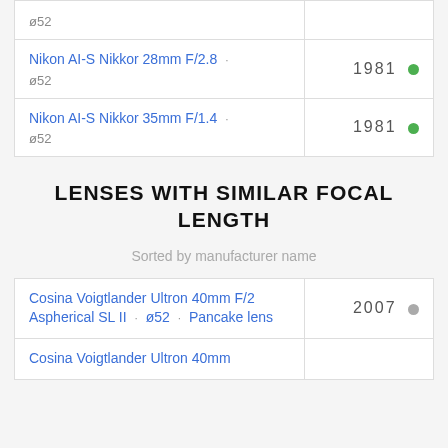| Lens | Year |
| --- | --- |
| ø52 |  |
| Nikon AI-S Nikkor 28mm F/2.8 · ø52 | 1981 ● |
| Nikon AI-S Nikkor 35mm F/1.4 · ø52 | 1981 ● |
LENSES WITH SIMILAR FOCAL LENGTH
Sorted by manufacturer name
| Lens | Year |
| --- | --- |
| Cosina Voigtlander Ultron 40mm F/2 Aspherical SL II · ø52 · Pancake lens | 2007 ● |
| Cosina Voigtlander Ultron 40mm |  |